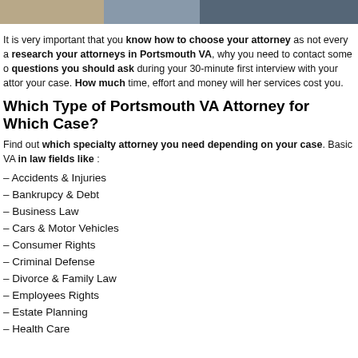[Figure (photo): Photo strip at top of page showing partial images of attorney-related photos]
It is very important that you know how to choose your attorney as not every a research your attorneys in Portsmouth VA, why you need to contact some o questions you should ask during your 30-minute first interview with your attor your case. How much time, effort and money will her services cost you.
Which Type of Portsmouth VA Attorney for Which Case?
Find out which specialty attorney you need depending on your case. Basic VA in law fields like :
– Accidents & Injuries
– Bankrupcy & Debt
– Business Law
– Cars & Motor Vehicles
– Consumer Rights
– Criminal Defense
– Divorce & Family Law
– Employees Rights
– Estate Planning
– Health Care